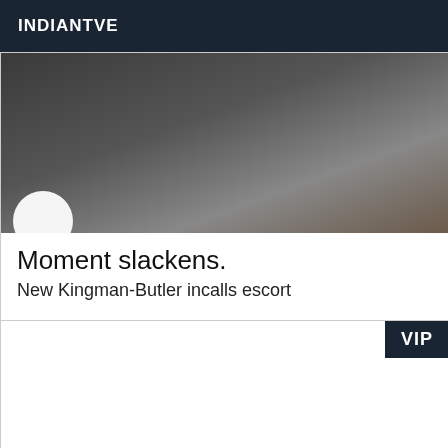INDIANTVE
[Figure (photo): Dark photo showing legs/feet area and metal furniture, partially obscured]
Moment slackens.
New Kingman-Butler incalls escort
beautiful blonde experienced class experienced natural softness of extreme cleanliness. for discreet male genteel and courteous as clean. on RV.instant relaxation. NO NEGOCE. CALL ME.
[Figure (photo): Second listing card with VIP badge, image area mostly blank/white]